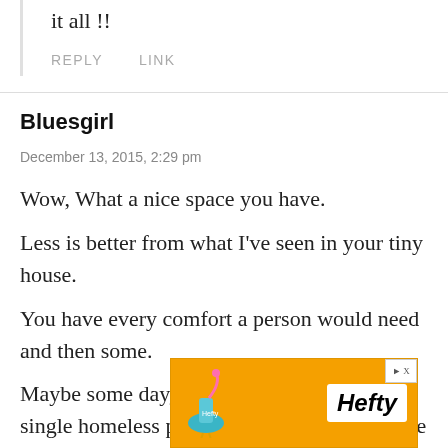it all !!
REPLY   LINK
Bluesgirl
December 13, 2015, 2:29 pm
Wow, What a nice space you have.
Less is better from what I've seen in your tiny house.
You have every comfort a person would need and then some.
Maybe some day, I would like for every single homeless person have a secure and safe tiny house to call home.
[Figure (other): Hefty brand advertisement banner with orange background showing a flamingo and Hefty logo]